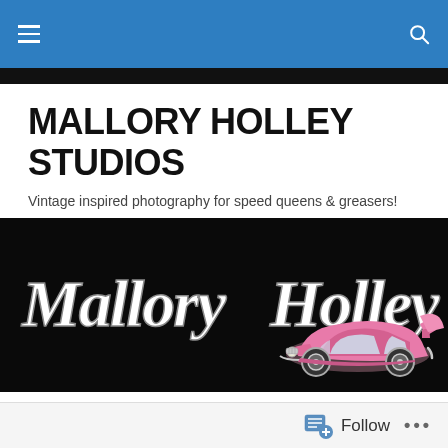Navigation bar with hamburger menu and search icon
MALLORY HOLLEY STUDIOS
Vintage inspired photography for speed queens & greasers!
[Figure (logo): Black banner with 'Mallory Holley' in gothic/tattoo lettering and a pink classic lowrider car illustration]
TAGGED WITH HOLLYWOOD
[Figure (photo): Outdoor winter scene with bare trees and light sky, partially visible]
Follow  ...